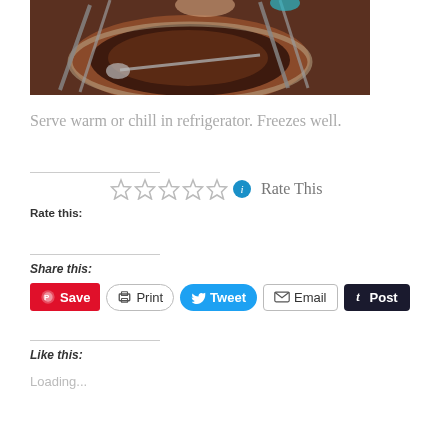[Figure (photo): Photo of chocolate pudding or sauce in a bowl on a plate with metal rack/stand visible, viewed from above]
Serve warm or chill in refrigerator. Freezes well.
Rate this: ☆☆☆☆☆ ℹ Rate This
Share this:
Save | Print | Tweet | Email | Post
Like this:
Loading...